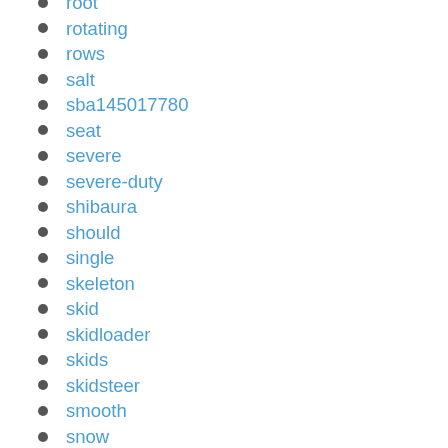root
rotating
rows
salt
sba145017780
seat
severe
severe-duty
shibaura
should
single
skeleton
skid
skidloader
skids
skidsteer
smooth
snow
snowithmulchdirtgravel
snowplow
soft
solid